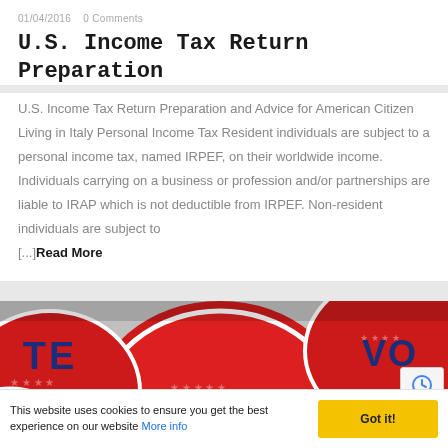01/04/2016   0 Comments
U.S. Income Tax Return Preparation
U.S. Income Tax Return Preparation and Advice for American Citizen Living in Italy Personal Income Tax Resident individuals are subject to a personal income tax, named IRPEF, on their worldwide income. Individuals carrying on a business or profession and/or partnerships are liable to IRAP which is not deductible from IRPEF. Non-resident individuals are subject to [...]Read More
[Figure (photo): Close-up photo of multiple red, white and blue circular 'VOTE' sticker badges with stars, overlapping each other]
This website uses cookies to ensure you get the best experience on our website More info
Got it!